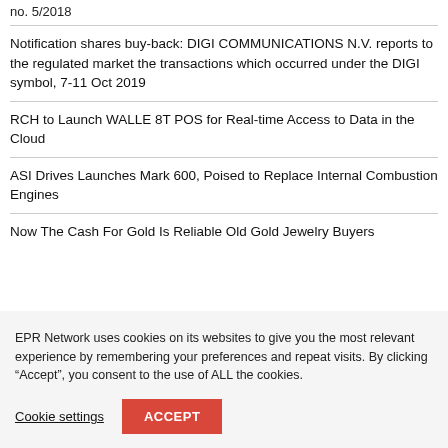no. 5/2018
Notification shares buy-back: DIGI COMMUNICATIONS N.V. reports to the regulated market the transactions which occurred under the DIGI symbol, 7-11 Oct 2019
RCH to Launch WALLE 8T POS for Real-time Access to Data in the Cloud
ASI Drives Launches Mark 600, Poised to Replace Internal Combustion Engines
Now The Cash For Gold Is Reliable Old Gold Jewelry Buyers
EPR Network uses cookies on its websites to give you the most relevant experience by remembering your preferences and repeat visits. By clicking “Accept”, you consent to the use of ALL the cookies.
Cookie settings
ACCEPT